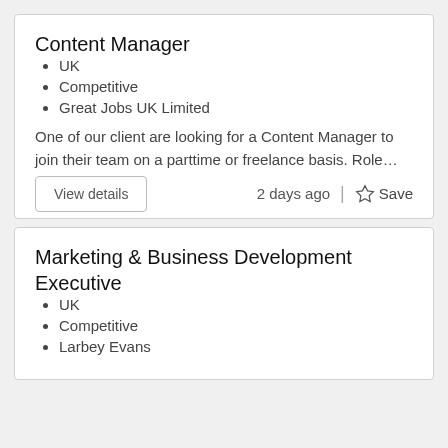Content Manager
UK
Competitive
Great Jobs UK Limited
One of our client are looking for a Content Manager to join their team on a parttime or freelance basis. Role…
Marketing & Business Development Executive
UK
Competitive
Larbey Evans